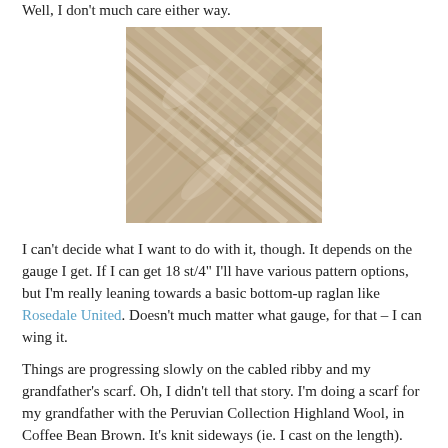Well, I don't much care either way.
[Figure (photo): Close-up photograph of beige/tan yarn texture showing twisted fibers in a diagonal pattern]
I can't decide what I want to do with it, though. It depends on the gauge I get. If I can get 18 st/4" I'll have various pattern options, but I'm really leaning towards a basic bottom-up raglan like Rosedale United. Doesn't much matter what gauge, for that – I can wing it.
Things are progressing slowly on the cabled ribby and my grandfather's scarf. Oh, I didn't tell that story. I'm doing a scarf for my grandfather with the Peruvian Collection Highland Wool, in Coffee Bean Brown. It's knit sideways (ie. I cast on the length). The first time I did it, I cast on wayyyy too many stitches. Luckily, I realized this before I'd gotten very far, and actually calculated how many I needed (350) before casting on. I'm finished the first ball, which gave me a little over an inch towards the width of the